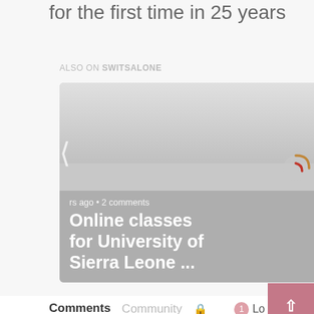for the first time in 25 years
ALSO ON SWITSALONE
[Figure (screenshot): Two article cards in a carousel: 1) 'Online classes for University of Sierra Leone ...' - years ago, 2 comments; 2) 'Sierra Leone: Freetown's new Mayor ...' - 4 years ago, 1 comment. With left and right navigation arrows.]
Comments   Community   🔒   1   Lo
♡ Favorite   Sort by
Start the discussion...